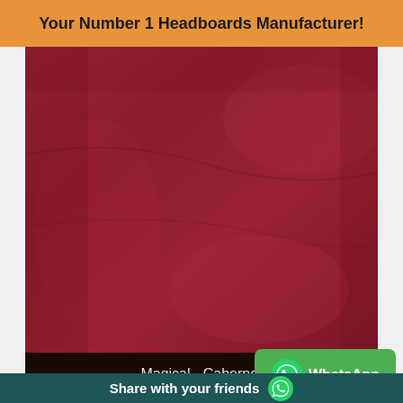Your Number 1 Headboards Manufacturer!
[Figure (photo): Close-up photo of dark red/cabernet fabric with visible textile texture and subtle folds]
Magical - Cabernet
[Figure (photo): Partial view of olive/khaki green fabric swatch at bottom]
[Figure (logo): WhatsApp button with WhatsApp logo and text]
Share with your friends